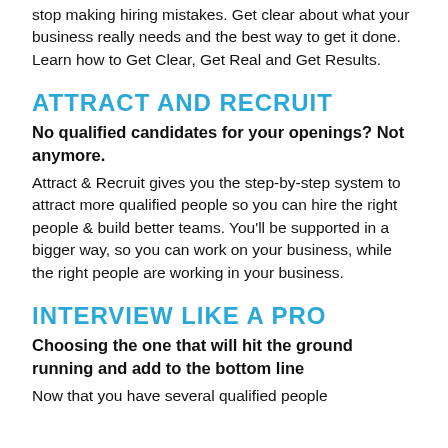stop making hiring mistakes. Get clear about what your business really needs and the best way to get it done. Learn how to Get Clear, Get Real and Get Results.
ATTRACT AND RECRUIT
No qualified candidates for your openings? Not anymore.
Attract & Recruit gives you the step-by-step system to attract more qualified people so you can hire the right people & build better teams. You'll be supported in a bigger way, so you can work on your business, while the right people are working in your business.
INTERVIEW LIKE A PRO
Choosing the one that will hit the ground running and add to the bottom line
Now that you have several qualified people